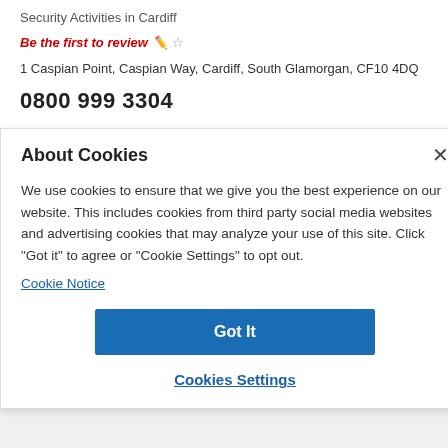Security Activities in Cardiff
Be the first to review
1 Caspian Point, Caspian Way, Cardiff, South Glamorgan, CF10 4DQ
0800 999 3304
About Cookies
We use cookies to ensure that we give you the best experience on our website. This includes cookies from third party social media websites and advertising cookies that may analyze your use of this site. Click "Got it" to agree or "Cookie Settings" to opt out.
Cookie Notice
Got It
Cookies Settings